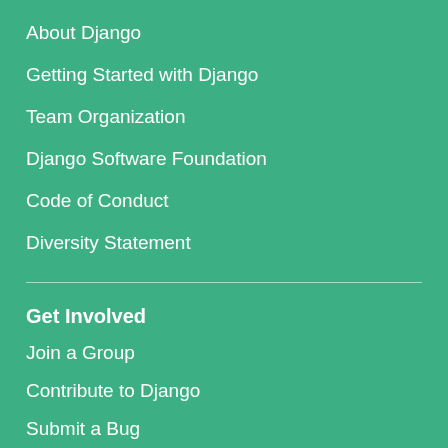About Django
Getting Started with Django
Team Organization
Django Software Foundation
Code of Conduct
Diversity Statement
Get Involved
Join a Group
Contribute to Django
Submit a Bug
Report a Security Issue